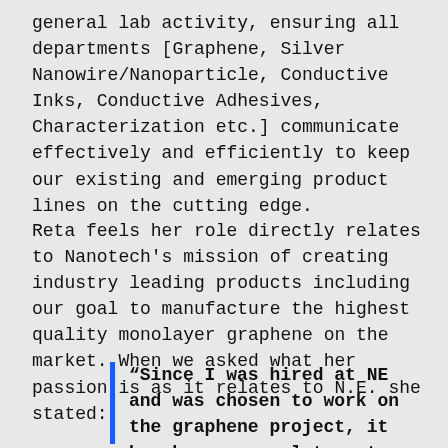general lab activity, ensuring all departments [Graphene, Silver Nanowire/Nanoparticle, Conductive Inks, Conductive Adhesives, Characterization etc.] communicate effectively and efficiently to keep our existing and emerging product lines on the cutting edge.
Reta feels her role directly relates to Nanotech's mission of creating industry leading products including our goal to manufacture the highest quality monolayer graphene on the market. When we asked what her passion is as it relates to N.E. she stated:
“Since I was hired at NE and was chosen to work on the graphene project, it has been my goal to get us to where we